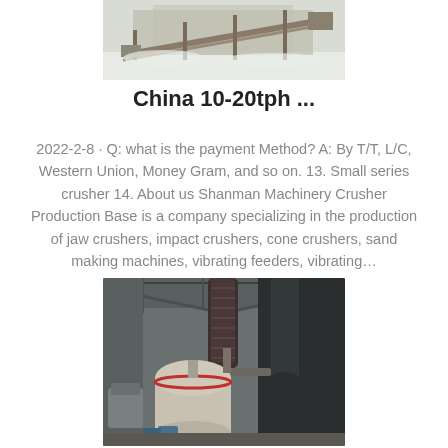[Figure (photo): Outdoor industrial crusher/conveyor equipment at a facility, snowy background]
China 10-20tph ...
2022-2-8 · Q: what is the payment Method? A: By T/T, L/C, Western Union, Money Gram, and so on. 13. Small series crusher 14. About us Shanman Machinery Crusher Production Base is a company specializing in the production of jaw crushers, impact crushers, cone crushers, sand making machines, vibrating feeders, vibrating...
[Figure (photo): Industrial milling/grinding machinery inside a factory building with large ducts and tanks]